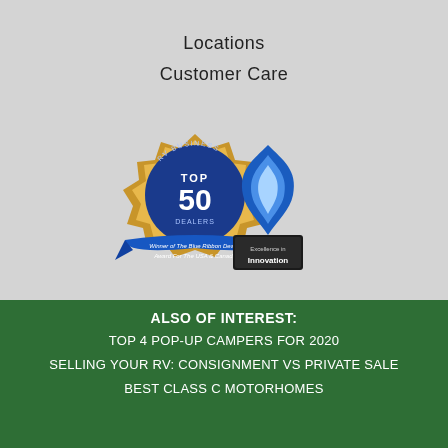Locations
Customer Care
[Figure (logo): RV Business Top 50 Blue Ribbon Dealer award badge - gold and blue star-shaped badge with 'TOP 50' text and ribbon reading 'Winner of The Blue Ribbon Dealer Award For The USA & Canada']
[Figure (logo): Excellence in Innovation award - blue flame trophy on black pedestal with 'Excellence in Innovation' text]
ALSO OF INTEREST:
TOP 4 POP-UP CAMPERS FOR 2020
SELLING YOUR RV: CONSIGNMENT VS PRIVATE SALE
BEST CLASS C MOTORHOMES
[Figure (logo): Campers Inn RV logo - green triangle with orange camper icon, 'campers inn RV' text in green and orange]